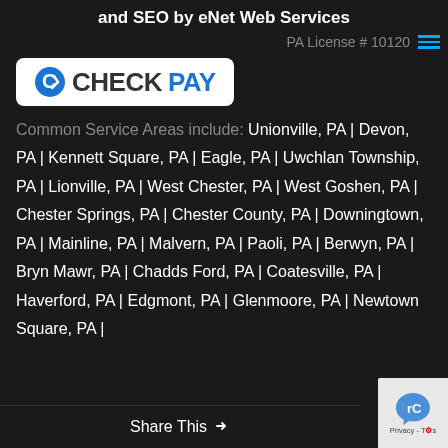and SEO by eNet Web Services
PA License # 10120
[Figure (logo): CheckPay logo — circular icon with letter C and check mark in blue, text CHECKPAY with CHECK in dark and PAY in blue, on white rounded rectangle background]
Common Service Areas include: Unionville, PA | Devon, PA | Kennett Square, PA | Eagle, PA | Uwchlan Township, PA | Lionville, PA | West Chester, PA | West Goshen, PA | Chester Springs, PA | Chester County, PA | Downingtown, PA | Mainline, PA | Malvern, PA | Paoli, PA | Berwyn, PA | Bryn Mawr, PA | Chadds Ford, PA | Coatesville, PA | Haverford, PA | Edgmont, PA | Glenmoore, PA | Newtown Square, PA |
Share This